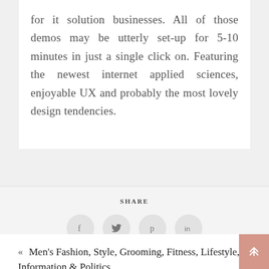for it solution businesses. All of those demos may be utterly set-up for 5-10 minutes in just a single click on. Featuring the newest internet applied sciences, enjoyable UX and probably the most lovely design tendencies.
SHARE
[Figure (infographic): Four social media share icon circles: Facebook (f), Twitter (bird/tweet icon), Pinterest (p), LinkedIn (in)]
« Men's Fashion, Style, Grooming, Fitness, Lifestyle, Information & Politics